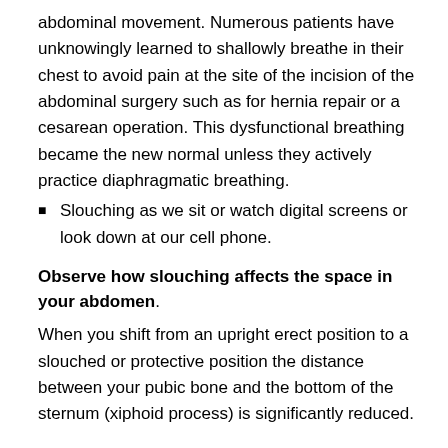abdominal movement. Numerous patients have unknowingly learned to shallowly breathe in their chest to avoid pain at the site of the incision of the abdominal surgery such as for hernia repair or a cesarean operation. This dysfunctional breathing became the new normal unless they actively practice diaphragmatic breathing.
Slouching as we sit or watch digital screens or look down at our cell phone.
Observe how slouching affects the space in your abdomen.
When you shift from an upright erect position to a slouched or protective position the distance between your pubic bone and the bottom of the sternum (xiphoid process) is significantly reduced.